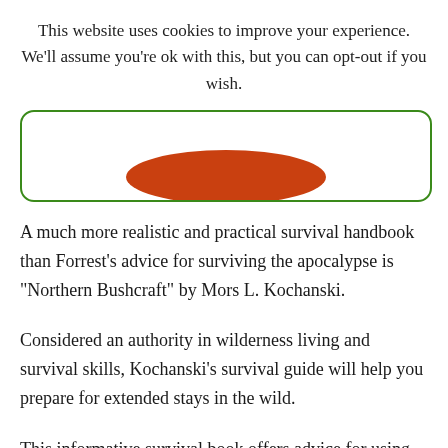This website uses cookies to improve your experience. We'll assume you're ok with this, but you can opt-out if you wish.
Cookie settings   ACCEPT
[Figure (other): Partial book cover image showing an orange/red oval shape on a white background with a green rounded border]
A much more realistic and practical survival handbook than Forrest's advice for surviving the apocalypse is "Northern Bushcraft" by Mors L. Kochanski.
Considered an authority in wilderness living and survival skills, Kochanski's survival guide will help you prepare for extended stays in the wild.
This informative survival book offers advice for using